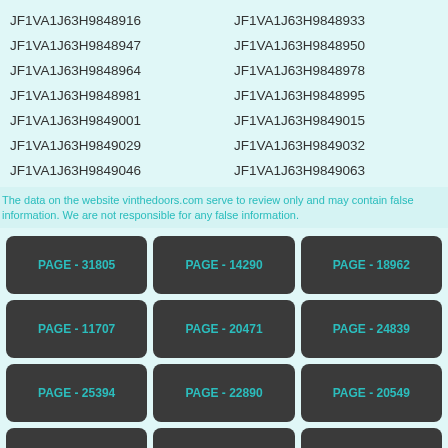JF1VA1J63H9848916
JF1VA1J63H9848933
JF1VA1J63H9848947
JF1VA1J63H9848950
JF1VA1J63H9848964
JF1VA1J63H9848978
JF1VA1J63H9848981
JF1VA1J63H9848995
JF1VA1J63H9849001
JF1VA1J63H9849015
JF1VA1J63H9849029
JF1VA1J63H9849032
JF1VA1J63H9849046
JF1VA1J63H9849063
The data on the website vinthedoors.com serve to review only and may contain false information. We are not responsible for any false information.
PAGE - 31805
PAGE - 14290
PAGE - 18962
PAGE - 11707
PAGE - 20471
PAGE - 24839
PAGE - 25394
PAGE - 22890
PAGE - 20549
PAGE - 9623
PAGE - 11296
PAGE - 9684